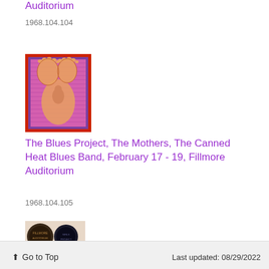Auditorium
1968.104.104
[Figure (illustration): Psychedelic concert poster artwork with pink/magenta background showing a figure, bordered in red and purple]
The Blues Project, The Mothers, The Canned Heat Blues Band, February 17 - 19, Fillmore Auditorium
1968.104.105
[Figure (illustration): Partial view of another concert poster with dark circular lettering visible]
↑ Go to Top   Last updated: 08/29/2022